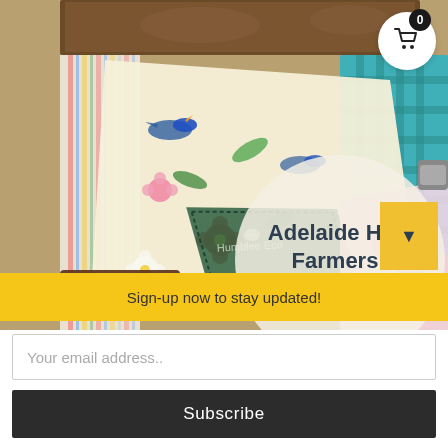[Figure (photo): Hero image showing beeswax wraps with floral and bird pattern (Humblee Eco brand label visible), alongside a striped fabric, teal checkered bag, and pink floral wrap arranged together. A sandwich with bread is partially visible at top.]
Adelaide Hills Farmers Sustainabili...
Sign-up now to stay updated!
Your email address..
Subscribe